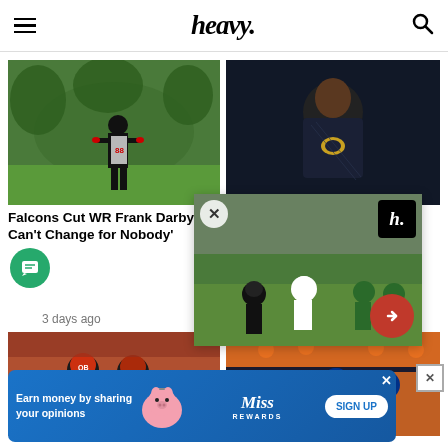heavy.
[Figure (photo): Falcons wide receiver Frank Darby running on a practice field with green trees in background]
Falcons Cut WR Frank Darby: 'I Can't Change for Nobody'
3 days ago
[Figure (photo): Atlanta Falcons player in dark Jaguars hoodie against dark background]
Falc... Talk... Abo...
3 days ago
[Figure (photo): Overlay popup showing football game action with heavy.com branding and red arrow button]
[Figure (photo): Bottom left article image showing two football players, one wearing a jersey]
[Figure (photo): Bottom right article image showing Denver Broncos players in orange against blue helmets]
[Figure (infographic): Advertisement banner: Earn money by sharing your opinions - Miss Rewards SIGN UP]